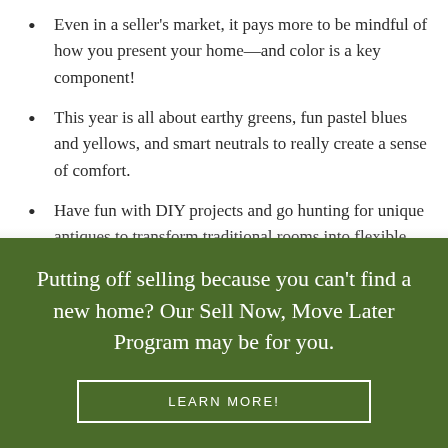Even in a seller's market, it pays more to be mindful of how you present your home—and color is a key component!
This year is all about earthy greens, fun pastel blues and yellows, and smart neutrals to really create a sense of comfort.
Have fun with DIY projects and go hunting for unique antiques to transform traditional rooms into flexible
Putting off selling because you can't find a new home? Our Sell Now, Move Later Program may be for you.
LEARN MORE!